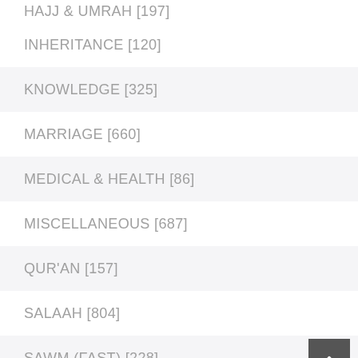HAJJ & UMRAH [197]
INHERITANCE [120]
KNOWLEDGE [325]
MARRIAGE [660]
MEDICAL & HEALTH [86]
MISCELLANEOUS [687]
QUR'AN [157]
SALAAH [804]
SAWM (FAST) [228]
TAHARAH [431]